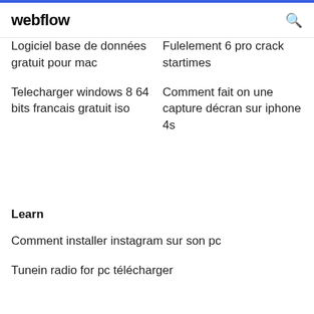webflow
Logiciel base de données gratuit pour mac
Fulelement 6 pro crack startimes
Telecharger windows 8 64 bits francais gratuit iso
Comment fait on une capture décran sur iphone 4s
Learn
Comment installer instagram sur son pc
Tunein radio for pc télécharger